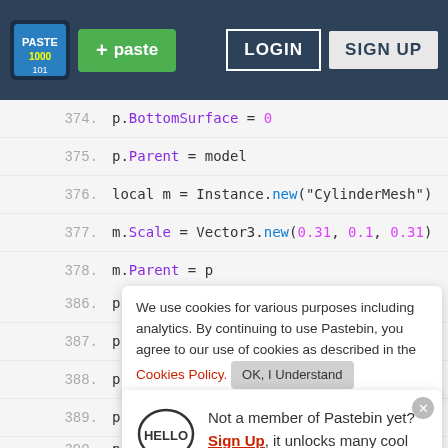Pastebin header with logo, paste button, login, sign up
374.   p.BottomSurface = 0
375.   p.Parent = model
376.   local m = Instance.new("CylinderMesh")
377.   m.Scale = Vector3.new(0.31, 0.1, 0.31)
378.   m.Parent = p
We use cookies for various purposes including analytics. By continuing to use Pastebin, you agree to our use of cookies as described in the Cookies Policy. OK, I Understand
[Figure (illustration): Hello speech bubble illustration]
Not a member of Pastebin yet? Sign Up, it unlocks many cool features!
386.   p.Name = "End 2"
387.   p.FormFactor = "Custom"
388.   p.Size = Vector3.new(1, 1, 1)
389.   p.BrickColor = BrickColor.new("Black")
390.   p.CanCollide = false